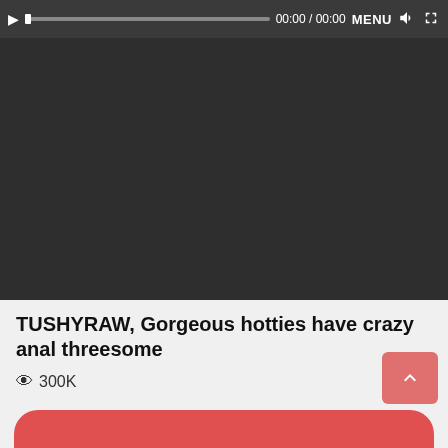[Figure (screenshot): Video player with dark background showing controls bar with play button, progress bar, time display 00:00 / 00:00, MENU label, volume icon, and fullscreen icon. Video area is black/dark.]
TUSHYRAW, Gorgeous hotties have crazy anal threesome
👁 300K